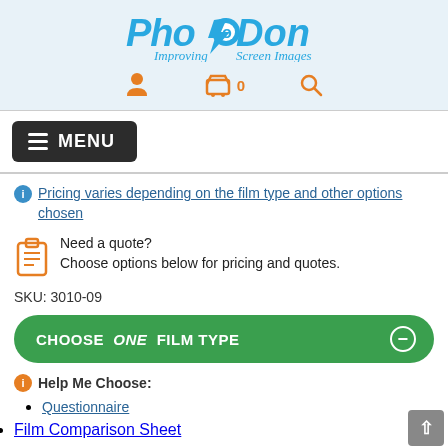[Figure (logo): PhotoDon logo with text 'Improving Screen Images']
[Figure (infographic): Navigation icons: user profile, shopping cart with 0, search]
MENU
Pricing varies depending on the film type and other options chosen
Need a quote? Choose options below for pricing and quotes.
SKU: 3010-09
CHOOSE ONE FILM TYPE
Help Me Choose:
Questionnaire
Film Comparison Sheet